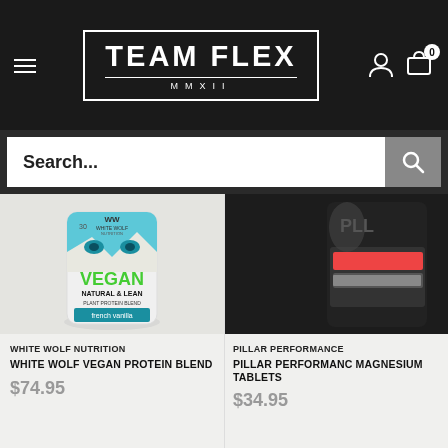[Figure (logo): Team Flex MMXII logo in white text on dark background with rectangular border]
Search...
[Figure (photo): White Wolf Nutrition Vegan Natural and Lean Plant Protein Blend French Vanilla protein powder container with wolf face graphic]
WHITE WOLF NUTRITION
WHITE WOLF VEGAN PROTEIN BLEND
$74.95
[Figure (photo): Pillar Performance supplement container, dark background, partially cropped]
PILLAR PERFORMANCE
PILLAR PERFORMANCE MAGNESIUM TABLETS
$34.95